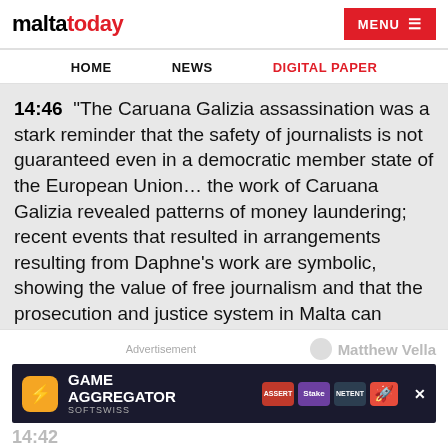maltatoday | MENU
HOME   NEWS   DIGITAL PAPER
14:46 “The Caruana Galizia assassination was a stark reminder that the safety of journalists is not guaranteed even in a democratic member state of the European Union… the work of Caruana Galizia revealed patterns of money laundering; recent events that resulted in arrangements resulting from Daphne’s work are symbolic, showing the value of free journalism and that the prosecution and justice system in Malta can work.”
Advertisement   Matthew Vella
[Figure (screenshot): Game Aggregator SOFTSWISS advertisement banner with colorful casino game logos]
14:42